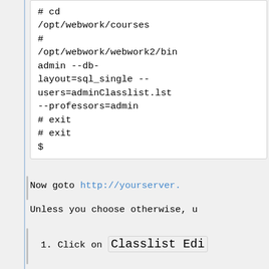# cd /opt/webwork/courses
# /opt/webwork/webwork2/bin/admin --db-layout=sql_single --users=adminClasslist.lst --professors=admin
# exit
# exit
$
Now goto http://yourserver.
Unless you choose otherwise, u
1. Click on Classlist Edi